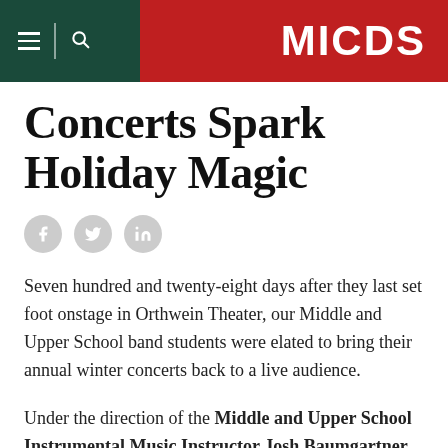MICDS
Concerts Spark Holiday Magic
[Figure (other): Social share icons: Facebook, Twitter, LinkedIn]
Seven hundred and twenty-eight days after they last set foot onstage in Orthwein Theater, our Middle and Upper School band students were elated to bring their annual winter concerts back to a live audience.
Under the direction of the Middle and Upper School Instrumental Music Instructor Josh Baumgartner,